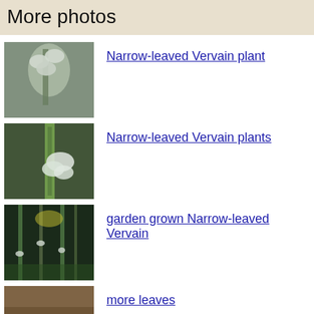More photos
[Figure (photo): Photo of Narrow-leaved Vervain plant with white flowers against blurred background]
Narrow-leaved Vervain plant
[Figure (photo): Photo of Narrow-leaved Vervain plants with green spike and white flowers]
Narrow-leaved Vervain plants
[Figure (photo): Photo of garden grown Narrow-leaved Vervain with tall thin stems]
garden grown Narrow-leaved Vervain
[Figure (photo): Photo showing leaves of Narrow-leaved Vervain with soil in background]
more leaves